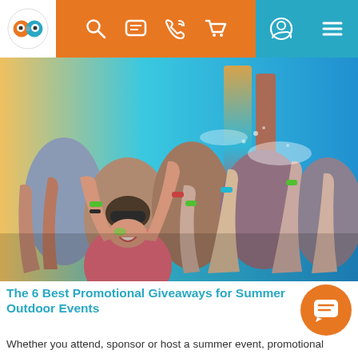Navigation bar with logo, search, chat, phone, cart, user, and menu icons
[Figure (photo): Crowd of young people at an outdoor summer event/festival, arms raised in the air, wearing colorful wristbands, smiling and cheering in bright sunlight]
The 6 Best Promotional Giveaways for Summer Outdoor Events
Whether you attend, sponsor or host a summer event, promotional